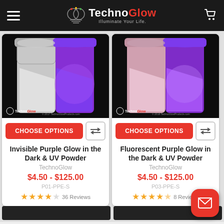TechnoGlow — Illuminate Your Life.
[Figure (photo): Product photo of Invisible Purple Glow in the Dark & UV Powder jar, split showing white powder on left and purple glow on right, on dark background. TechnoGlow watermark bottom left, copyright 2017 bottom right.]
[Figure (photo): Product photo of Fluorescent Purple Glow in the Dark & UV Powder jar, split showing pink powder on left and purple glow on right, on dark background. TechnoGlow watermark bottom left, copyright 2018 bottom right.]
CHOOSE OPTIONS
CHOOSE OPTIONS
Invisible Purple Glow in the Dark & UV Powder
Fluorescent Purple Glow in the Dark & UV Powder
TechnoGlow
TechnoGlow
$4.50 - $125.00
$4.50 - $125.00
P01-PPE-S
P03-PPE-S
36 Reviews
8 Reviews